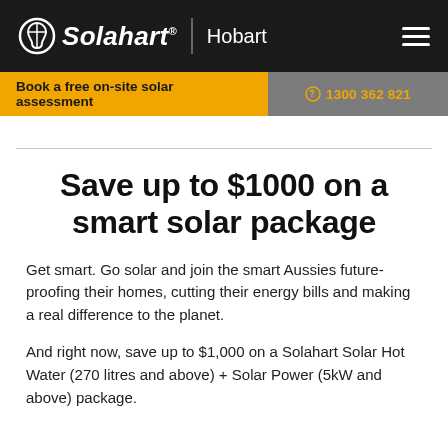Solahart® Hobart
Book a free on-site solar assessment
1300 362 821
Save up to $1000 on a smart solar package
Get smart. Go solar and join the smart Aussies future-proofing their homes, cutting their energy bills and making a real difference to the planet.
And right now, save up to $1,000 on a Solahart Solar Hot Water (270 litres and above) + Solar Power (5kW and above) package.